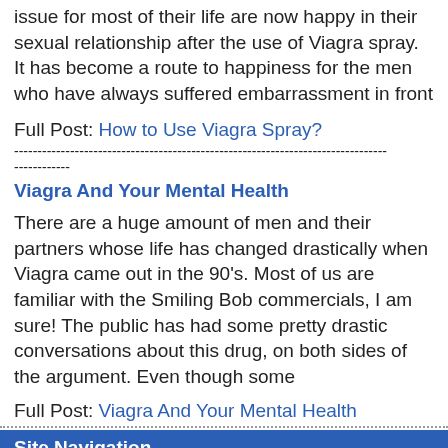issue for most of their life are now happy in their sexual relationship after the use of Viagra spray. It has become a route to happiness for the men who have always suffered embarrassment in front
Full Post: How to Use Viagra Spray?
--------------------------------------------------------------------------------
------------
Viagra And Your Mental Health
There are a huge amount of men and their partners whose life has changed drastically when Viagra came out in the 90's. Most of us are familiar with the Smiling Bob commercials, I am sure! The public has had some pretty drastic conversations about this drug, on both sides of the argument. Even though some
Full Post: Viagra And Your Mental Health
Site Navigation
Home
Diflucan
Hair Removal
Healthy Lifestyle Tips